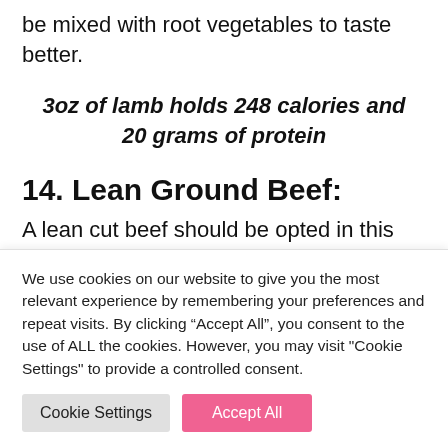be mixed with root vegetables to taste better.
3oz of lamb holds 248 calories and 20 grams of protein
14. Lean Ground Beef:
A lean cut beef should be opted in this case. Beef has high fat content and is rich in
We use cookies on our website to give you the most relevant experience by remembering your preferences and repeat visits. By clicking “Accept All”, you consent to the use of ALL the cookies. However, you may visit "Cookie Settings" to provide a controlled consent.